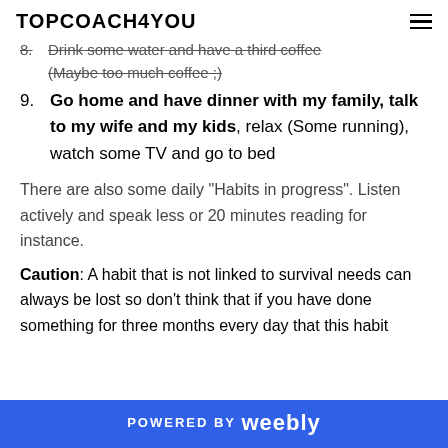TOPCOACH4YOU
8. Drink some water and have a third coffee (Maybe too much coffee ;)
9. Go home and have dinner with my family, talk to my wife and my kids, relax (Some running), watch some TV and go to bed
There are also some daily "Habits in progress". Listen actively and speak less or 20 minutes reading for instance.
Caution: A habit that is not linked to survival needs can always be lost so don't think that if you have done something for three months every day that this habit
POWERED BY weebly